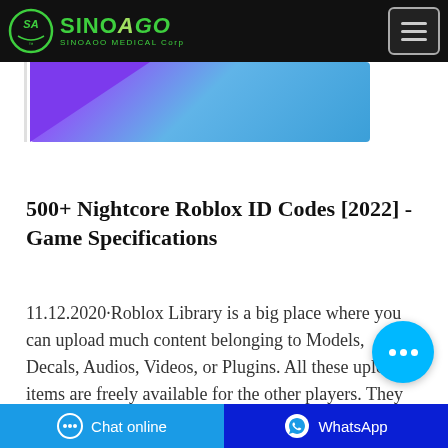SinoAoo Medical Corp
[Figure (illustration): Colorful hero banner with purple and blue gradient background]
500+ Nightcore Roblox ID Codes [2022] - Game Specifications
11.12.2020·Roblox Library is a big place where you can upload much content belonging to Models, Decals, Audios, Videos, or Plugins. All these uploaded items are freely available for the other players. They can use these
Chat online   WhatsApp